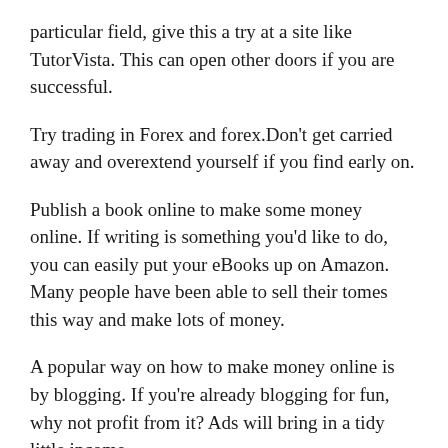particular field, give this a try at a site like TutorVista. This can open other doors if you are successful.
Try trading in Forex and forex.Don't get carried away and overextend yourself if you find early on.
Publish a book online to make some money online. If writing is something you'd like to do, you can easily put your eBooks up on Amazon. Many people have been able to sell their tomes this way and make lots of money.
A popular way on how to make money online is by blogging. If you're already blogging for fun, why not profit from it? Ads will bring in a tidy little income.
Flip domain names. In fact, it could be quite lucrative. However, you do have to put up a bit of money in the beginning. Google Adsense can help you find out what is